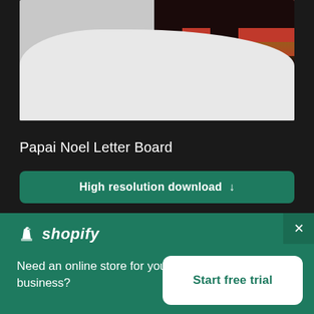[Figure (photo): Top portion of image showing white fluffy fabric and red/black plaid textile in upper right corner, cropped screenshot from a stock photo website]
Papai Noel Letter Board
High resolution download ↓
[Figure (photo): Lower portion showing golden/yellow background with person wearing a Santa hat, partially visible]
[Figure (screenshot): Shopify banner ad overlay with green background, Shopify logo, text 'Need an online store for your business?' and 'Start free trial' button]
shopify
Need an online store for your business?
Start free trial